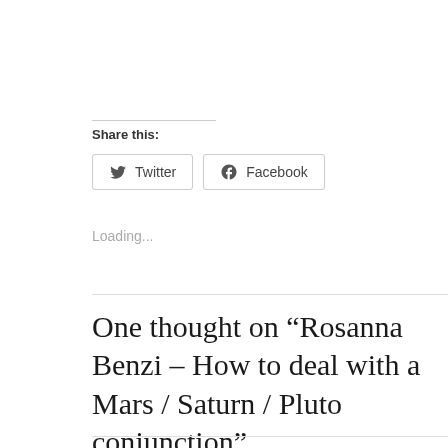Share this:
[Figure (other): Twitter and Facebook share buttons]
Loading...
One thought on “Rosanna Benzi – How to deal with a Mars / Saturn / Pluto conjunction”
[Figure (logo): Avatar icon with red and white grid pattern]
look says: